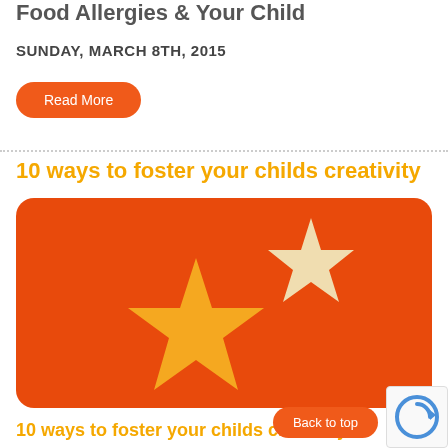Food Allergies & Your Child
SUNDAY, MARCH 8TH, 2015
Read More
10 ways to foster your childs creativity
[Figure (illustration): Orange rounded rectangle card with two star shapes — a large golden/yellow star in the center-left and a smaller cream/beige star to the upper right, on an orange-red background.]
10 ways to foster your childs creativity